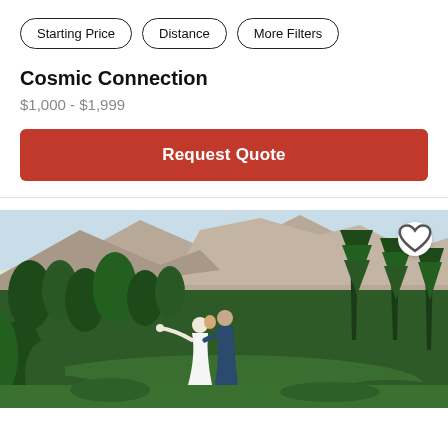Starting Price | Distance | More Filters
Cosmic Connection
$1,000 - $1,999
Request Quote
[Figure (photo): Wedding couple kissing in a mountain forest setting; groom in blue suit dips bride in white dress, lush green trees and rocky mountain cliffs in background]